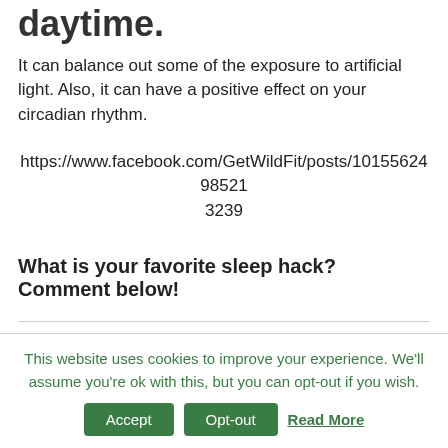daytime.
It can balance out some of the exposure to artificial light. Also, it can have a positive effect on your circadian rhythm.
https://www.facebook.com/GetWildFit/posts/10155624985213239
What is your favorite sleep hack? Comment below!
This website uses cookies to improve your experience. We'll assume you're ok with this, but you can opt-out if you wish.